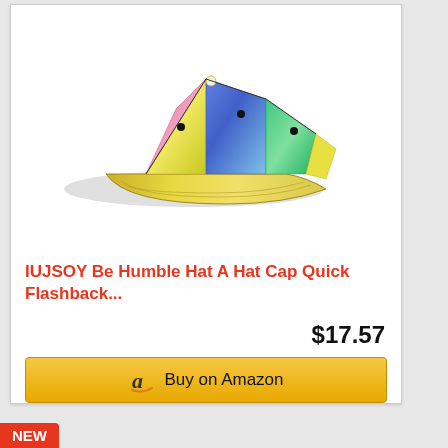[Figure (photo): A colorful iridescent/holographic snapback baseball hat with rainbow reflective colors including blue, pink, yellow, and green panels, photographed on a white background.]
IUJSOY Be Humble Hat A Hat Cap Quick Flashback...
$17.57
Buy on Amazon
NEW